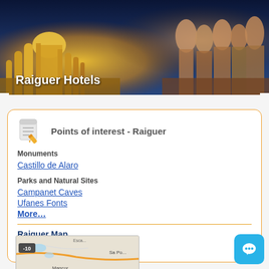[Figure (photo): Header photo of Spanish architecture/monuments at dusk with golden lighting, showing cathedral spires and Gaudi-style rooftop figures]
Raiguer Hotels
Points of interest - Raiguer
Monuments
Castillo de Alaro
Parks and Natural Sites
Campanet Caves
Ufanes Fonts
More…
Raiguer Map
[Figure (map): Raiguer region map showing Sa Pobla area with road -10 marked and towns including Mancor]